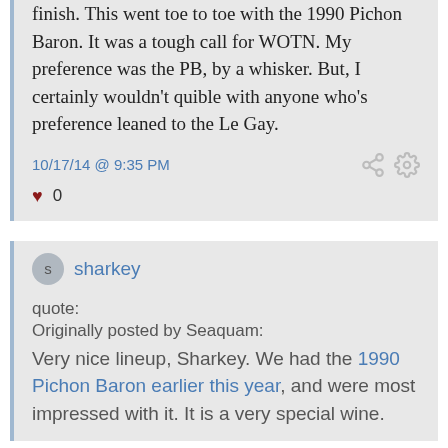finish. This went toe to toe with the 1990 Pichon Baron. It was a tough call for WOTN. My preference was the PB, by a whisker. But, I certainly wouldn't quible with anyone who's preference leaned to the Le Gay.
10/17/14 @ 9:35 PM
0
sharkey
quote:
Originally posted by Seaquam:
Very nice lineup, Sharkey. We had the 1990 Pichon Baron earlier this year, and were most impressed with it. It is a very special wine.